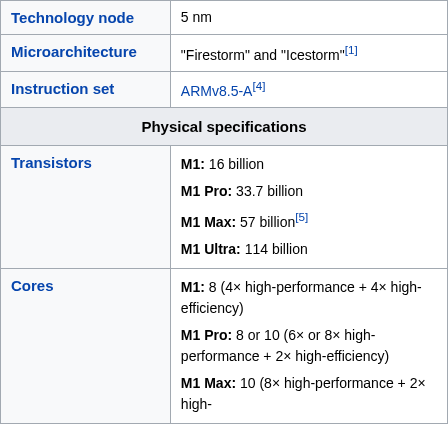| Property | Value |
| --- | --- |
| Technology node | 5 nm |
| Microarchitecture | "Firestorm" and "Icestorm"[1] |
| Instruction set | ARMv8.5-A[4] |
| Physical specifications |  |
| Transistors | M1: 16 billion
M1 Pro: 33.7 billion
M1 Max: 57 billion[5]
M1 Ultra: 114 billion |
| Cores | M1: 8 (4× high-performance + 4× high-efficiency)
M1 Pro: 8 or 10 (6× or 8× high-performance + 2× high-efficiency)
M1 Max: 10 (8× high-performance + 2× high- |